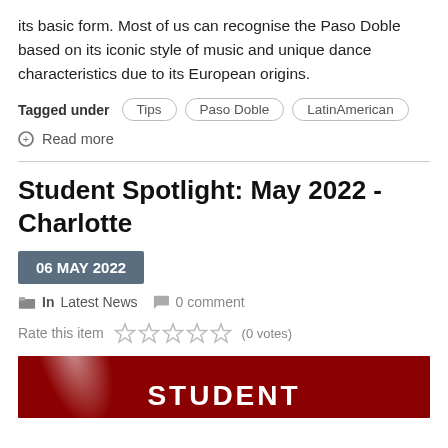its basic form. Most of us can recognise the Paso Doble based on its iconic style of music and unique dance characteristics due to its European origins.
Tagged under  Tips  Paso Doble  LatinAmerican
Read more
Student Spotlight: May 2022 - Charlotte
06 MAY 2022
In Latest News  0 comment
Rate this item  (0 votes)
[Figure (illustration): Red banner with spotlight effect and large white text reading STUDENT]